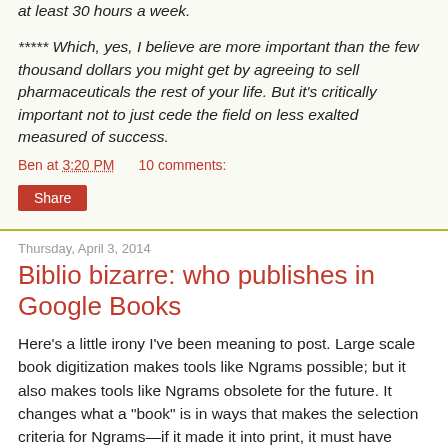at least 30 hours a week.
***** Which, yes, I believe are more important than the few thousand dollars you might get by agreeing to sell pharmaceuticals the rest of your life. But it's critically important not to just cede the field on less exalted measured of success.
Ben at 3:20 PM    10 comments:
Share
Thursday, April 3, 2014
Biblio bizarre: who publishes in Google Books
Here's a little irony I've been meaning to post. Large scale book digitization makes tools like Ngrams possible; but it also makes tools like Ngrams obsolete for the future. It changes what a "book" is in ways that makes the selection criteria for Ngrams—if it made it into print, it must have some significance—completely meaningless.